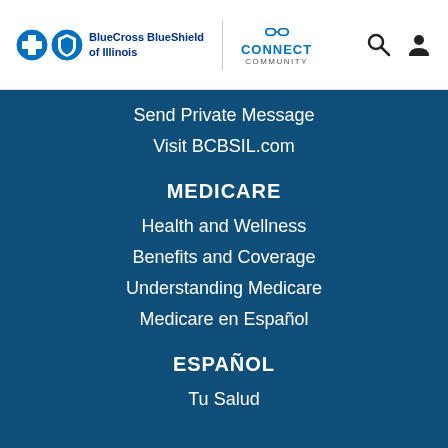[Figure (logo): BlueCross BlueShield of Illinois logo with two shield icons and text, Connect Community logo with chain link icon]
Send Private Message
Visit BCBSIL.com
MEDICARE
Health and Wellness
Benefits and Coverage
Understanding Medicare
Medicare en Español
ESPAÑOL
Tu Salud